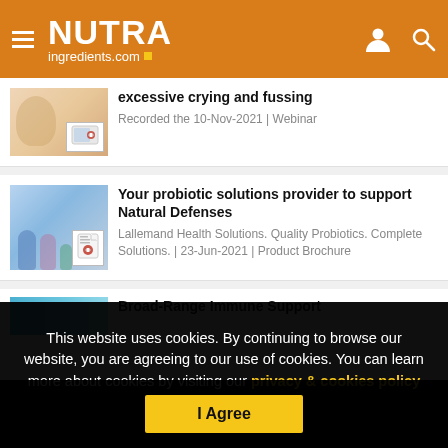NUTRAingredients.com
excessive crying and fussing
Recorded the 10-Nov-2021 | Webinar
Your probiotic solutions provider to support Natural Defenses
Lallemand Health Solutions. Quality Probiotics. Complete Solutions. | 23-Jun-2021 | Product Brochure
Broad-Range Immune Support
This website uses cookies. By continuing to browse our website, you are agreeing to our use of cookies. You can learn more about cookies by visiting our privacy & cookies policy page.
I Agree